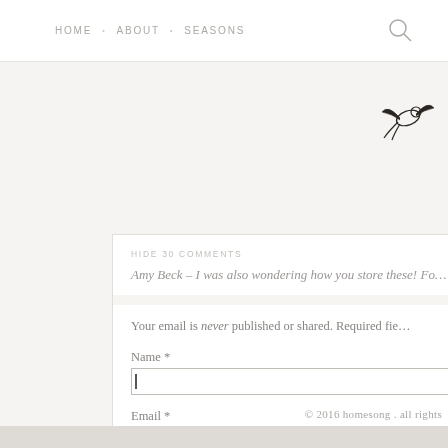HOME  •  ABOUT  •  SEASONS
[Figure (illustration): Small decorative bird/swallow illustration in black ink, top right area]
HIDE 30 COMMENTS
Amy Beck – I was also wondering how you store these! Fo…
Your email is never published or shared. Required fie…
Name *
Email *
Website
© 2016 homesong . all rights